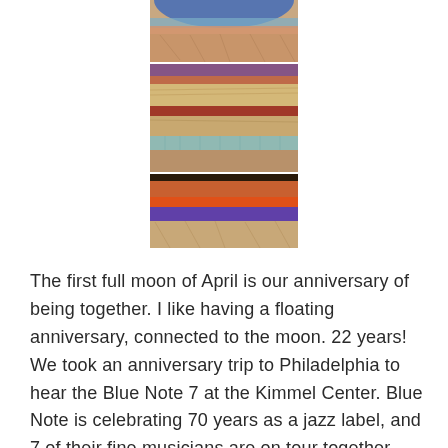[Figure (illustration): A tall vertical collage of colorful layered abstract images showing bands of color — blues, purples, reds, oranges, tans, and teals — resembling geological strata or textile/ceramic art panels stacked on top of one another.]
The first full moon of April is our anniversary of being together.  I like having a floating anniversary, connected to the moon.  22 years!  We took an anniversary trip to Philadelphia to hear the Blue Note 7 at the Kimmel Center. Blue Note is celebrating 70 years as a jazz label, and 7 of their fine musicians are on tour together, with an album